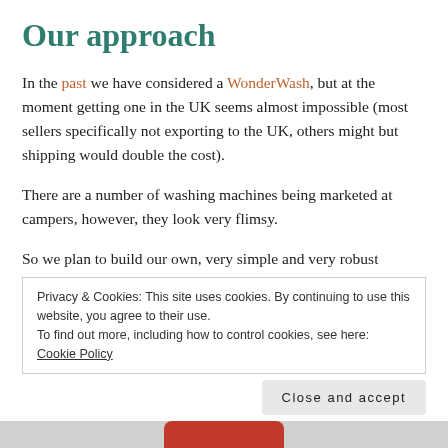Our approach
In the past we have considered a WonderWash, but at the moment getting one in the UK seems almost impossible (most sellers specifically not exporting to the UK, others might but shipping would double the cost).
There are a number of washing machines being marketed at campers, however, they look very flimsy.
So we plan to build our own, very simple and very robust
Privacy & Cookies: This site uses cookies. By continuing to use this website, you agree to their use.
To find out more, including how to control cookies, see here: Cookie Policy
Close and accept
[Figure (photo): Bottom portion of a red object, partially visible at the bottom of the page]